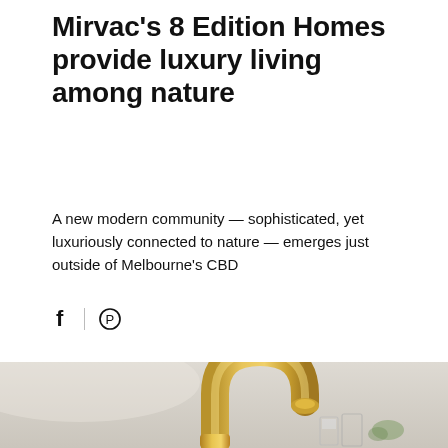Mirvac's 8 Edition Homes provide luxury living among nature
A new modern community — sophisticated, yet luxuriously connected to nature — emerges just outside of Melbourne's CBD
[Figure (illustration): Social sharing icons: Facebook (f) and Pinterest (circled P) with a vertical divider between them]
[Figure (photo): Close-up photo of a brushed gold/brass kitchen faucet with a curved neck, on a light grey background, with glasses and a plant visible in the soft-focus background]